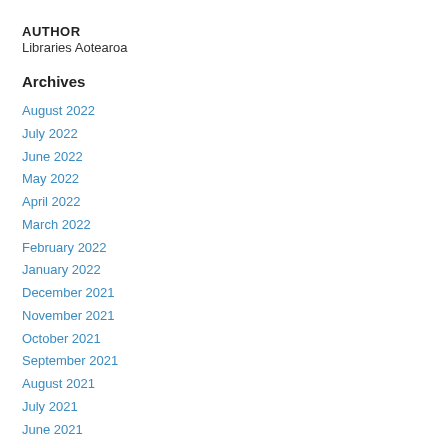AUTHOR
Libraries Aotearoa
Archives
August 2022
July 2022
June 2022
May 2022
April 2022
March 2022
February 2022
January 2022
December 2021
November 2021
October 2021
September 2021
August 2021
July 2021
June 2021